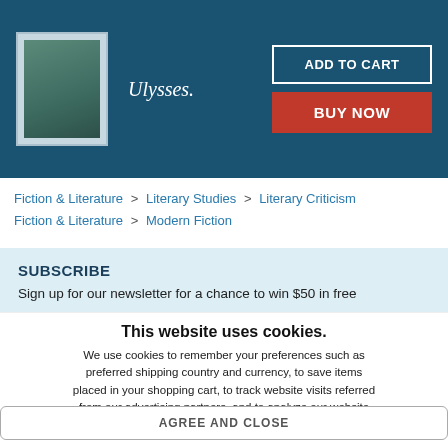[Figure (screenshot): Book product header bar with teal background showing a book cover image for Ulysses, the book title, an ADD TO CART button, and a BUY NOW button]
Fiction & Literature > Literary Studies > Literary Criticism
Fiction & Literature > Modern Fiction
SUBSCRIBE
Sign up for our newsletter for a chance to win $50 in free
This website uses cookies.
We use cookies to remember your preferences such as preferred shipping country and currency, to save items placed in your shopping cart, to track website visits referred from our advertising partners, and to analyze our website traffic. Manage your privacy settings.
AGREE AND CLOSE